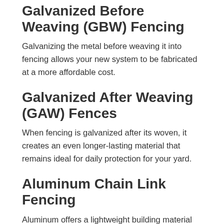Galvanized Before Weaving (GBW) Fencing
Galvanizing the metal before weaving it into fencing allows your new system to be fabricated at a more affordable cost.
Galvanized After Weaving (GAW) Fences
When fencing is galvanized after its woven, it creates an even longer-lasting material that remains ideal for daily protection for your yard.
Aluminum Chain Link Fencing
Aluminum offers a lightweight building material that stays durable, even against corrosion, powerful winds, and direct impacts for affordable security.